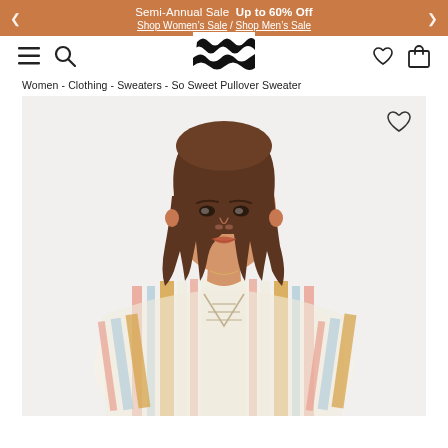Semi-Annual Sale  Up to 60% Off  Shop Women's Sale / Shop Men's Sale
[Figure (logo): Billabong wave logo in black]
Women - Clothing - Sweaters - So Sweet Pullover Sweater
[Figure (photo): Young woman with wavy brown hair wearing a multicolor striped lace-up pullover sweater against a light gray background]